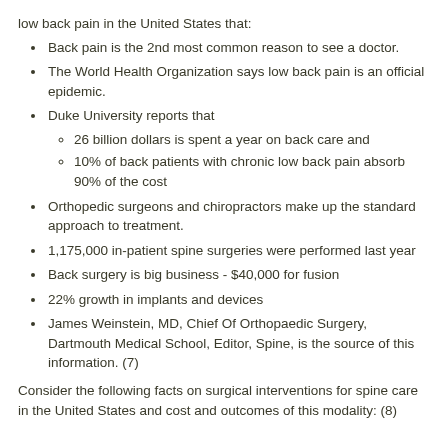low back pain in the United States that:
Back pain is the 2nd most common reason to see a doctor.
The World Health Organization says low back pain is an official epidemic.
Duke University reports that
26 billion dollars is spent a year on back care and
10% of back patients with chronic low back pain absorb 90% of the cost
Orthopedic surgeons and chiropractors make up the standard approach to treatment.
1,175,000 in-patient spine surgeries were performed last year
Back surgery is big business - $40,000 for fusion
22% growth in implants and devices
James Weinstein, MD, Chief Of Orthopaedic Surgery, Dartmouth Medical School, Editor, Spine, is the source of this information. (7)
Consider the following facts on surgical interventions for spine care in the United States and cost and outcomes of this modality: (8)